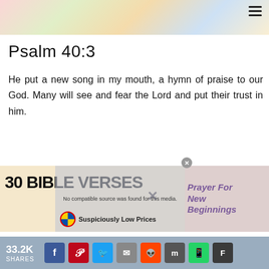[Figure (photo): Colorful floral/nature image at top of page, partially cut off, showing pinks, greens, yellows and purples]
Psalm 40:3
He put a new song in my mouth, a hymn of praise to our God. Many will see and fear the Lord and put their trust in him.
[Figure (infographic): Advertisement overlay with text '30 BIBLE VERSES' on a tan background, with a video player overlay showing 'No compatible source was found for this media', and a partial 'Prayer For New Beginnings' graphic on the right, plus a Lidl ad 'Suspiciously Low Prices']
33.2K SHARES [social share icons: Facebook, Pinterest, Twitter, Email, Reddit, Flipboard, WhatsApp, Flipboard]